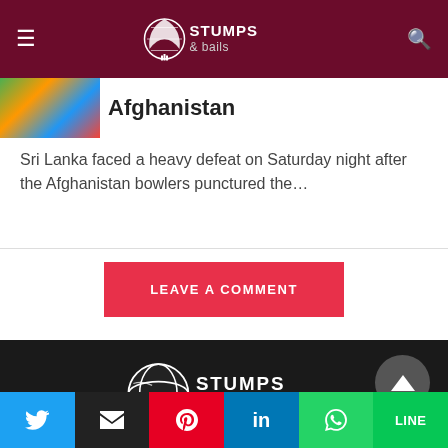Stumps & Bails
Afghanistan
Sri Lanka faced a heavy defeat on Saturday night after the Afghanistan bowlers punctured the…
LEAVE A COMMENT
[Figure (logo): Stumps & Bails logo on dark background]
ABOUT US
Social share bar: Twitter, Email, Pinterest, LinkedIn, WhatsApp, LINE